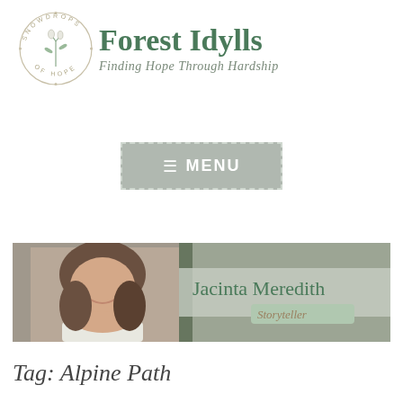[Figure (logo): Circular logo with snowdrop flowers and text 'SNOWDROPS OF HOPE' around the border, paired with site name 'Forest Idylls' and tagline 'Finding Hope Through Hardship']
[Figure (other): Menu button with hamburger icon and text 'MENU' on grey background with dashed border]
[Figure (photo): Banner image showing a woman smiling with text 'Jacinta Meredith Storyteller' overlaid on a forest background]
Tag: Alpine Path